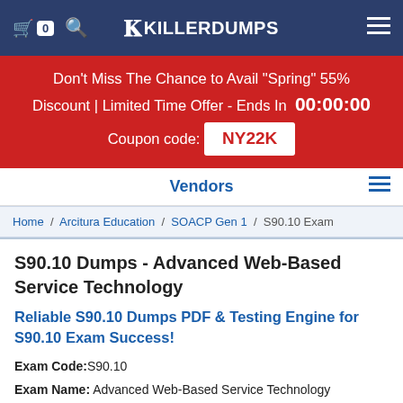KillerDumps navigation bar with cart, search, logo, and menu
Don't Miss The Chance to Avail "Spring" 55% Discount | Limited Time Offer - Ends In 00:00:00 Coupon code: NY22K
Vendors
Home / Arcitura Education / SOACP Gen 1 / S90.10 Exam
S90.10 Dumps - Advanced Web-Based Service Technology
Reliable S90.10 Dumps PDF & Testing Engine for S90.10 Exam Success!
Exam Code: S90.10
Exam Name: Advanced Web-Based Service Technology
Certification Provider: Arcitura Education
Related Certification(s): SOACP Gen 1